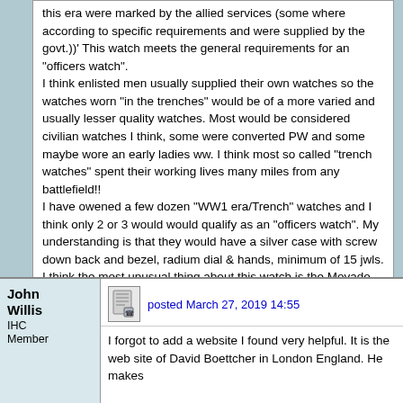this era were marked by the allied services (some where according to specific requirements and were supplied by the govt.))' This watch meets the general requirements for an "officers watch". I think enlisted men usually supplied their own watches so the watches worn "in the trenches" would be of a more varied and usually lesser quality watches. Most would be considered civilian watches I think, some were converted PW and some maybe wore an early ladies ww. I think most so called "trench watches" spent their working lives many miles from any battlefield!! I have owened a few dozen "WW1 era/Trench" watches and I think only 2 or 3 would would qualify as an "officers watch". My understanding is that they would have a silver case with screw down back and bezel, radium dial & hands, minimum of 15 jwls. I think the most unusual thing about this watch is the Movado movement. I have seen others with Rolex, Longines, Omega, Gallet, and probably a few others It is the only one that I have seen with a Movado in it. I am sure not any expert on these watches but that is my understanding at this time. I really appreciate you input, Thanks, John
Posts: 354 | Location: Kincardine, Ontario in Canada | Registered: November 25, 2013
John Willis
IHC Member
posted March 27, 2019 14:55
I forgot to add a website I found very helpful. It is the web site of David Boettcher in London England. He makes